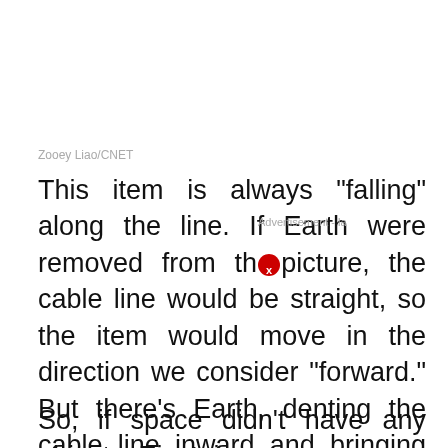Zooey Liao/CNET
This item is always "falling" along the line. If Earth were removed from the picture, the cable line would be straight, so the item would move in the direction we consider "forward." But there's Earth, denting the cable line inward and bringing the object on that line along with it.
So, if space didn't have any objects, Einstein